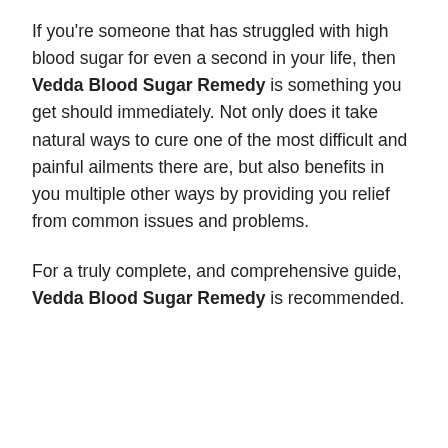If you're someone that has struggled with high blood sugar for even a second in your life, then Vedda Blood Sugar Remedy is something you get should immediately. Not only does it take natural ways to cure one of the most difficult and painful ailments there are, but also benefits in you multiple other ways by providing you relief from common issues and problems.
For a truly complete, and comprehensive guide, Vedda Blood Sugar Remedy is recommended.
[Figure (infographic): Yellow 'YES! Order Now' button with blue arrows pointing at it from both sides, and a row of payment/security icons below (security shield, VISA, American Express, Discover, MasterCard, 60-day money back guarantee)]